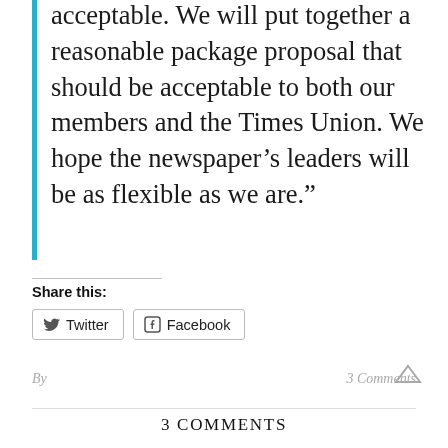acceptable. We will put together a reasonable package proposal that should be acceptable to both our members and the Times Union. We hope the newspaper’s leaders will be as flexible as we are.”
Share this:
Twitter
Facebook
By
3 Comments
3 COMMENTS